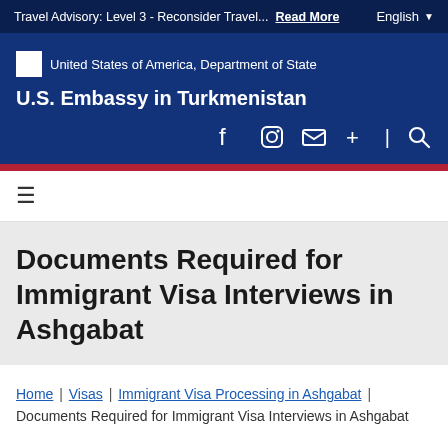Travel Advisory: Level 3 - Reconsider Travel... Read More   English ▾
[Figure (logo): United States of America, Department of State seal/logo placeholder]
U.S. Embassy in Turkmenistan
Documents Required for Immigrant Visa Interviews in Ashgabat
Home | Visas | Immigrant Visa Processing in Ashgabat | Documents Required for Immigrant Visa Interviews in Ashgabat